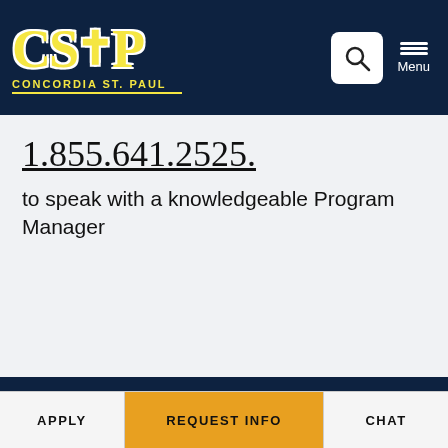[Figure (logo): CSP Concordia St. Paul logo with gold lettering on dark navy background, with search icon and menu button]
1.855.641.2525
to speak with a knowledgeable Program Manager
APPLY | REQUEST INFO | CHAT